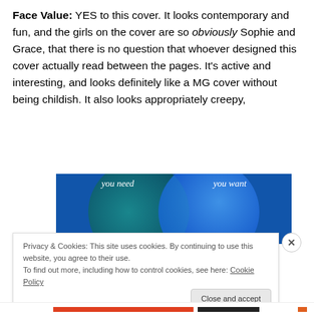Face Value: YES to this cover. It looks contemporary and fun, and the girls on the cover are so obviously Sophie and Grace, that there is no question that whoever designed this cover actually read between the pages. It's active and interesting, and looks definitely like a MG cover without being childish. It also looks appropriately creepy,
[Figure (infographic): Venn diagram with two overlapping circles on a blue/teal gradient background. Left circle labeled 'you need', right circle labeled 'you want'.]
Privacy & Cookies: This site uses cookies. By continuing to use this website, you agree to their use.
To find out more, including how to control cookies, see here: Cookie Policy
Close and accept